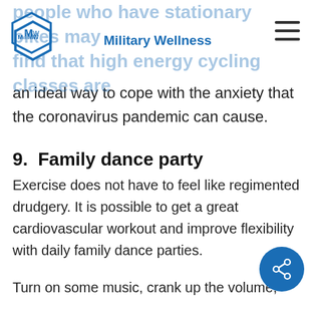Military Wellness
people who have stationary bikes may find that high energy cycling classes are an ideal way to cope with the anxiety that the coronavirus pandemic can cause.
9.  Family dance party
Exercise does not have to feel like regimented drudgery. It is possible to get a great cardiovascular workout and improve flexibility with daily family dance parties.
Turn on some music, crank up the volume,